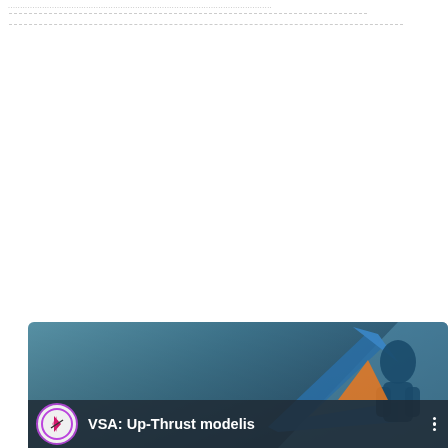[Figure (screenshot): A video thumbnail/player UI for a video titled 'VSA: Up-Thrust modelis'. Shows a channel icon with a lightning bolt logo (purple circle border), the video title in white text, a three-dot menu icon, and a background with teal/blue gradient with arrow and figure graphics.]